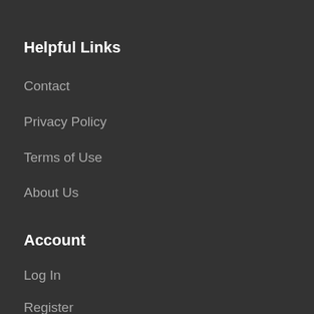(partial top text, cropped)
Helpful Links
Contact
Privacy Policy
Terms of Use
About Us
Account
Log In
Register
[Figure (logo): BBB Accredited Business badge with flame logo on white background and blue panel reading ACCREDITED BUSINESS]